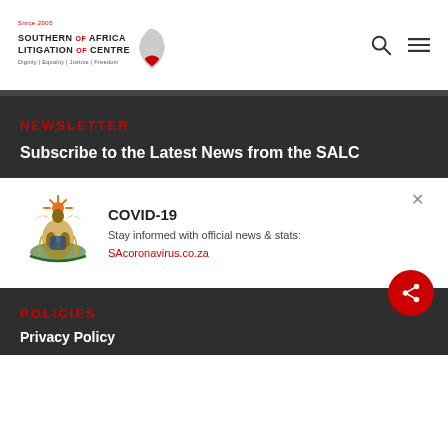[Figure (logo): Southern Africa Litigation Centre logo with Africa map silhouette. Since 2005. Tagline: Dignity | Equality | Justice | Freedom]
NEWSLETTER
Subscribe to the Latest News from the SALC
[Figure (infographic): COVID-19 popup notification with South African coat of arms, text 'COVID-19 Stay informed with official news & stats: SAcoronavirus.co.za' and a close (X) button]
POLICIES
Privacy Policy